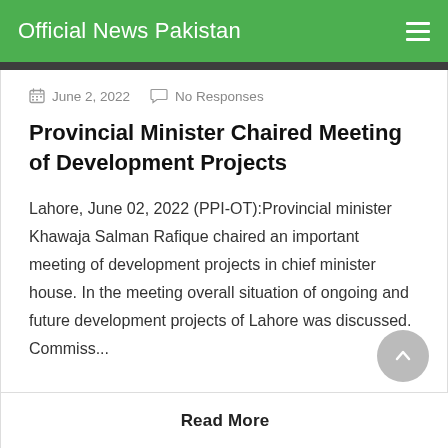Official News Pakistan
June 2, 2022   No Responses
Provincial Minister Chaired Meeting of Development Projects
Lahore, June 02, 2022 (PPI-OT):Provincial minister Khawaja Salman Rafique chaired an important meeting of development projects in chief minister house. In the meeting overall situation of ongoing and future development projects of Lahore was discussed. Commiss...
Read More